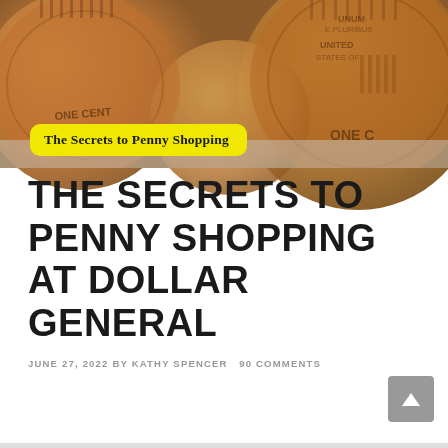[Figure (photo): Close-up photo of several copper pennies (one cent coins), with a yellow overlay text box reading 'The Secrets to Penny Shopping at']
THE SECRETS TO PENNY SHOPPING AT DOLLAR GENERAL
JUNE 27, 2022 BY KATHY SPENCER   90 COMMENTS